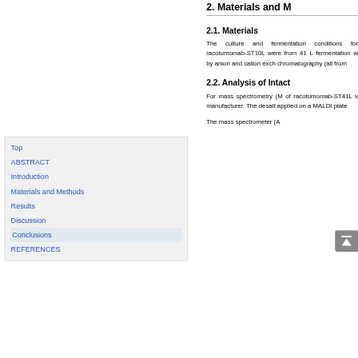2. Materials and M
2.1. Materials
The culture and fermentation conditions for racotumomab-ST10L were from 41 L fermentation w by anion and cation exch chromatography (all from
2.2. Analysis of Intact
For mass spectrometry (M of racotumomab-ST41L manufacturer. The desalt applied on a MALDI plate
The mass spectrometer (A
Top
ABSTRACT
Introduction
Materials and Methods
Results
Discussion
Conclusions
REFERENCES